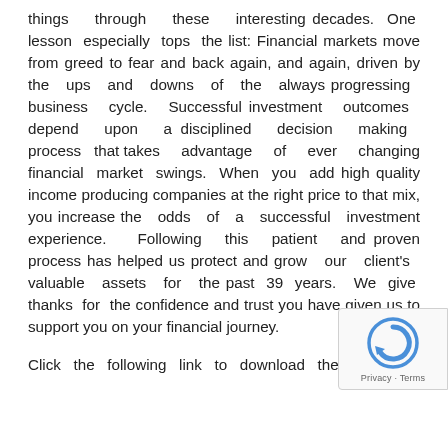things through these interesting decades. One lesson especially tops the list: Financial markets move from greed to fear and back again, and again, driven by the ups and downs of the always progressing business cycle. Successful investment outcomes depend upon a disciplined decision making process that takes advantage of ever changing financial market swings. When you add high quality income producing companies at the right price to that mix, you increase the odds of a successful investment experience. Following this patient and proven process has helped us protect and grow our client's valuable assets for the past 39 years. We give thanks for the confidence and trust you have given us to support you on your financial journey.
Click the following link to download the